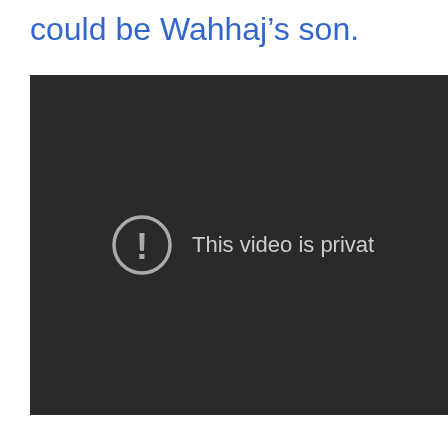could be Wahhaj’s son.
[Figure (screenshot): A dark video player area showing an error message: a circle with exclamation mark icon followed by the text 'This video is privat' (truncated). The background is dark gray (#2a2a2c).]